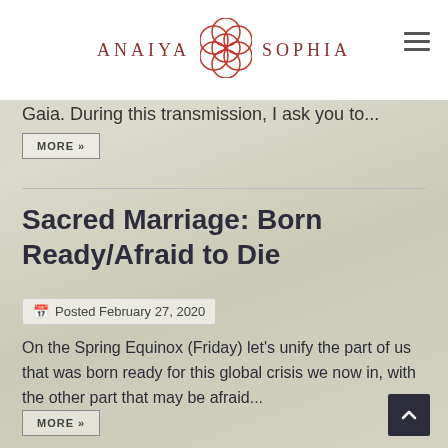[Figure (logo): Anaiya Sophia logo with stylized star of David / flower of life geometric symbol in red/coral, flanked by text ANAIYA and SOPHIA in spaced serif capitals in dark red]
Gaia. During this transmission, I ask you to...
MORE »
Sacred Marriage: Born Ready/Afraid to Die
Posted February 27, 2020
On the Spring Equinox (Friday) let's unify the part of us that was born ready for this global crisis we now in, with the other part that may be afraid...
MORE »